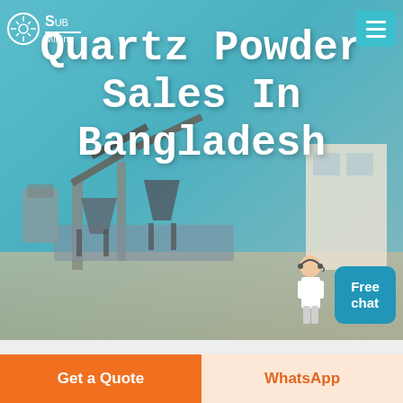[Figure (screenshot): Hero banner image showing a mining/quarry industrial facility with conveyor belts and equipment against a blue sky background. Includes website navigation bar with logo and hamburger menu icon, and a 'Free chat' button with customer service person illustration.]
Quartz Powder Sales In Bangladesh
Home / quartz powder sales in bangladesh
Different Machines To Meet All Need
Get a Quote
WhatsApp